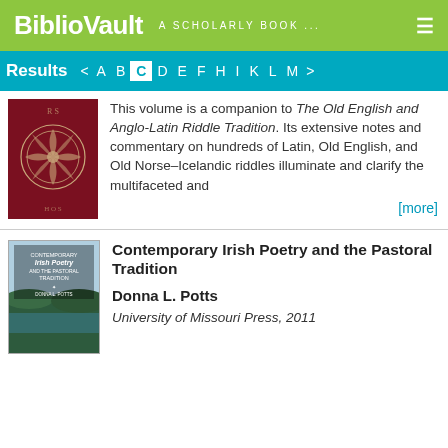BiblioVault  A SCHOLARLY BOOK ...
Results  < A B C D E F H I K L M >
[Figure (illustration): Red book cover with decorative pattern]
This volume is a companion to The Old English and Anglo-Latin Riddle Tradition. Its extensive notes and commentary on hundreds of Latin, Old English, and Old Norse–Icelandic riddles illuminate and clarify the multifaceted and
[more]
[Figure (illustration): Book cover: Contemporary Irish Poetry and the Pastoral Tradition by Donna L. Potts]
Contemporary Irish Poetry and the Pastoral Tradition
Donna L. Potts
University of Missouri Press, 2011